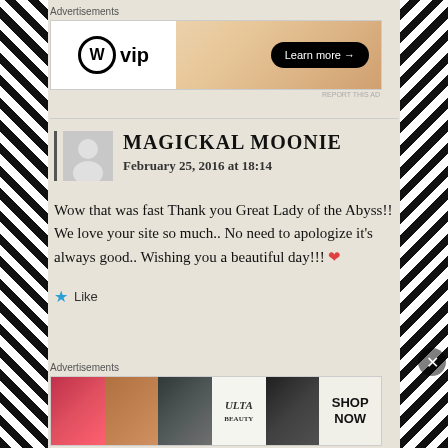[Figure (other): WordPress VIP advertisement banner with logo and Learn more button]
MAGICKAL MOONIE
February 25, 2016 at 18:14
Wow that was fast Thank you Great Lady of the Abyss!! We love your site so much.. No need to apologize it's always good.. Wishing you a beautiful day!!! ❤
Like
[Figure (other): ULTA beauty advertisement banner with makeup images and Shop Now button]